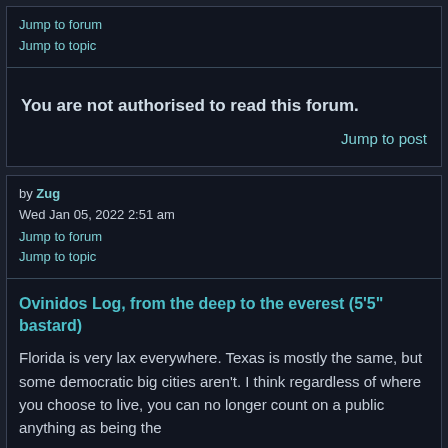Jump to forum
Jump to topic
You are not authorised to read this forum.
Jump to post
by Zug
Wed Jan 05, 2022 2:51 am
Jump to forum
Jump to topic
Ovinidos Log, from the deep to the everest (5'5" bastard)
Florida is very lax everywhere. Texas is mostly the same, but some democratic big cities aren't. I think regardless of where you choose to live, you can no longer count on a public anything as being the